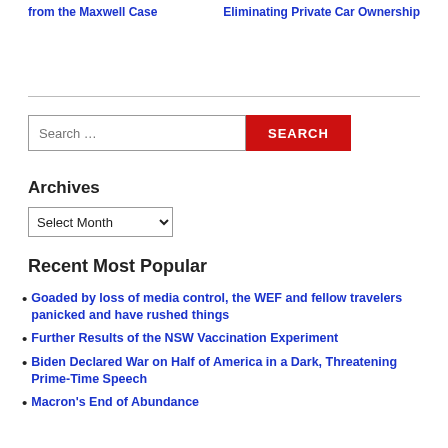from the Maxwell Case
Eliminating Private Car Ownership
[Figure (other): Search bar with text input placeholder 'Search ...' and a red SEARCH button]
Archives
[Figure (other): Dropdown select element labeled 'Select Month']
Recent Most Popular
Goaded by loss of media control, the WEF and fellow travelers panicked and have rushed things
Further Results of the NSW Vaccination Experiment
Biden Declared War on Half of America in a Dark, Threatening Prime-Time Speech
Macron's End of Abundance